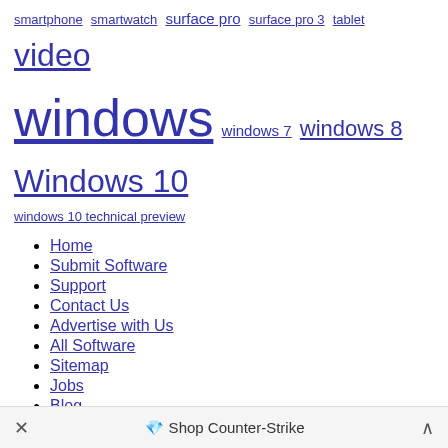smartphone smartwatch surface pro surface pro 3 tablet video windows windows 7 windows 8 Windows 10 windows 10 technical preview
Home
Submit Software
Support
Contact Us
Advertise with Us
All Software
Sitemap
Jobs
Blog
Facebook
Twitter
RSS
Soft32
© 2003 - 2013 ITNT. All rights reserved.
Privacy Policy
Shop Counter-Strike